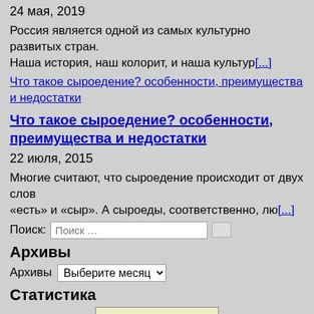24 мая, 2019
Россия является одной из самых культурно развитых стран. Наша история, наш колорит, и наша культур[...]
[link-image] Что такое сыроедение? особенности, преимущества и недостатки
Что такое сыроедение? особенности, преимущества и недостатки
22 июля, 2015
Многие считают, что сыроедение происходит от двух слов «есть» и «сыр». А сыроеды, соответственно, лю[...]
Поиск: [Поиск …]
Архивы
Архивы [Выберите месяц]
Статистика
[Figure (logo): Liveinternet сервис статистики badge/logo]